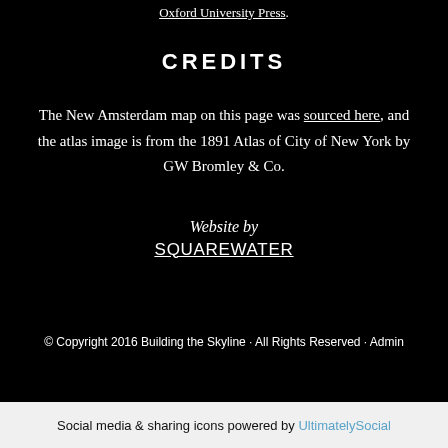Oxford University Press.
CREDITS
The New Amsterdam map on this page was sourced here, and the atlas image is from the 1891 Atlas of City of New York by GW Bromley & Co.
Website by
SQUAREWATER
© Copyright 2016 Building the Skyline · All Rights Reserved · Admin
Social media & sharing icons powered by UltimatelySocial